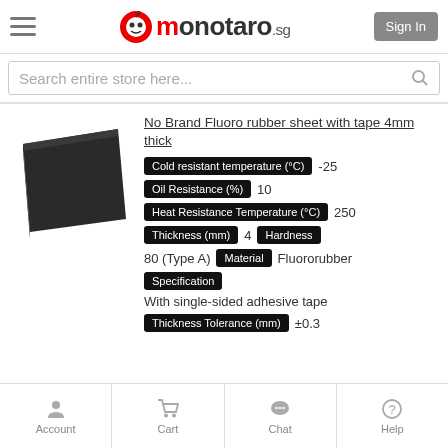monotaro.sg — Sign In
Search entire store here...
[Figure (photo): Dark gray/black fluoro rubber sheet, square, slightly angled perspective view]
No Brand Fluoro rubber sheet with tape 4mm thick
Cold resistant temperature (°C) -25
Oil Resistance (%) 10
Heat Resistance Temperature (°C) 250
Thickness (mm) 4  Hardness
80 (Type A)  Material  Fluororubber
Specification
With single-sided adhesive tape
Thickness Tolerance (mm) ±0.3
Account  Cart  Chat  Help